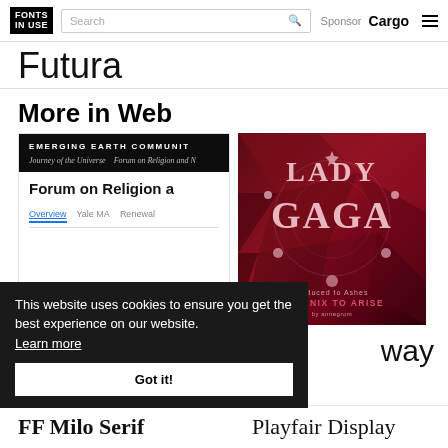FONTS IN USE | Search | Sponsor Cargo
Futura
More in Web
[Figure (screenshot): Screenshot of Emerging Earth Community website showing navigation bar with 'EMERGING EARTH COMMUNITY' heading and links 'Journey of the Universe' and 'Forum on Religion and...' on dark background; below shows 'Forum on Religion a...' heading with tabs: Overview, Yale MA, Renewal]
[Figure (illustration): Lady Gaga typographic poster on red/maroon geometric background. Large decorative text reads 'LADY GAGA'. Below: 'Reduced to Ashes' and 'PHOENIX TO ARISE' in pink text.]
This website uses cookies to ensure you get the best experience on our website. Learn more
Got it!
way
FF Milo Serif
Playfair Display